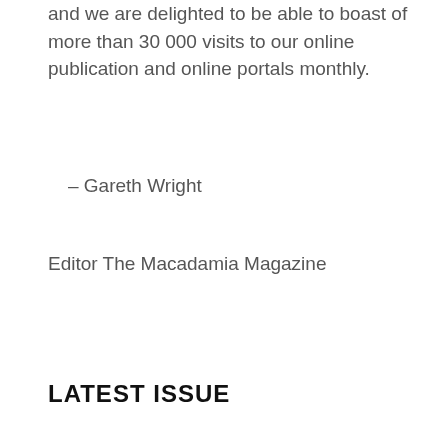and we are delighted to be able to boast of more than 30 000 visits to our online publication and online portals monthly.
– Gareth Wright
Editor The Macadamia Magazine
LATEST ISSUE